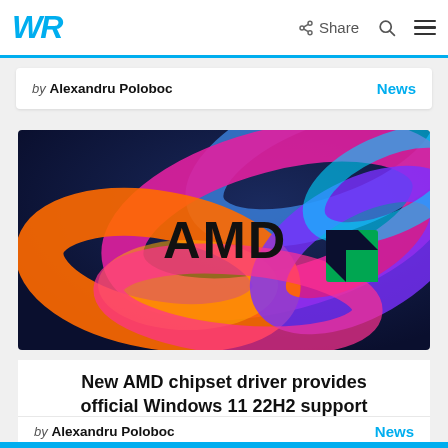WR | Share | Search | Menu
by Alexandru Poloboc   News
[Figure (photo): AMD logo overlaid on a colorful Windows 11 swirling abstract wallpaper background with orange, pink, magenta, blue and purple ribbon shapes on a dark navy background.]
New AMD chipset driver provides official Windows 11 22H2 support
by Alexandru Poloboc   News